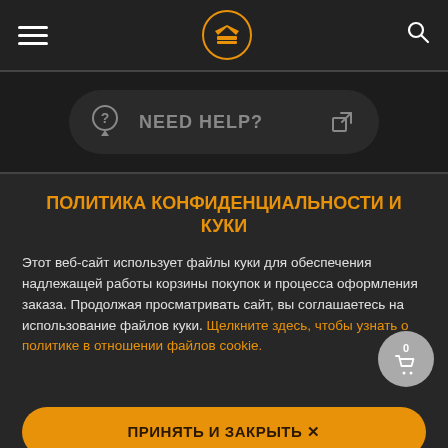Header with hamburger menu, crown logo, and search icon
[Figure (screenshot): NEED HELP? button with question mark icon and external link icon on dark background]
ПОЛИТИКА КОНФИДЕНЦИАЛЬНОСТИ И КУКИ
Этот веб-сайт использует файлы куки для обеспечения надлежащей работы корзины покупок и процесса оформления заказа. Продолжая просматривать сайт, вы соглашаетесь на использование файлов куки. Щелкните здесь, чтобы узнать о политике в отношении файлов cookie.
ПРИНЯТЬ И ЗАКРЫТЬ ✕